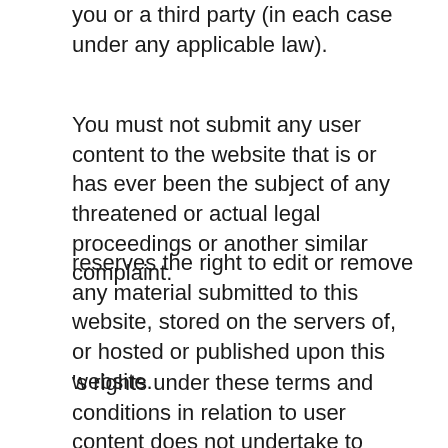you or a third party (in each case under any applicable law).
You must not submit any user content to the website that is or has ever been the subject of any threatened or actual legal proceedings or another similar complaint.
reserves the right to edit or remove any material submitted to this website, stored on the servers of, or hosted or published upon this website.
's rights under these terms and conditions in relation to user content does not undertake to monitor the submission of such content to, or the publication of such content on, this website.